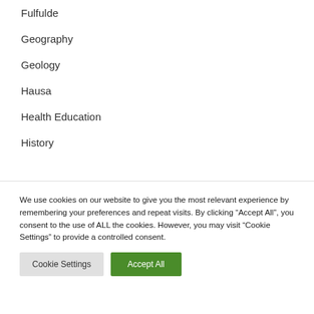Fulfulde
Geography
Geology
Hausa
Health Education
History
We use cookies on our website to give you the most relevant experience by remembering your preferences and repeat visits. By clicking “Accept All”, you consent to the use of ALL the cookies. However, you may visit "Cookie Settings" to provide a controlled consent.
Cookie Settings  Accept All